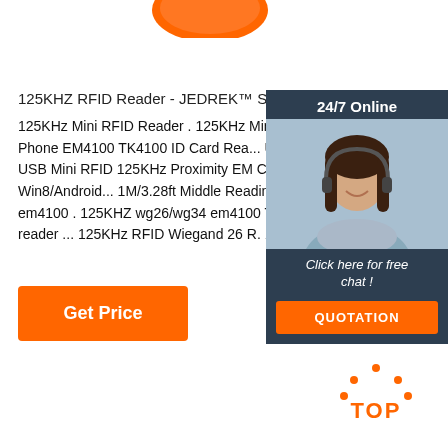[Figure (photo): Partial product image at top of page - orange/red colored device cropped at top]
125KHZ RFID Reader - JEDREK™ Sys
125KHz Mini RFID Reader . 125KHz Mini RFID Rea... Phone EM4100 TK4100 ID Card Rea... USB Mini R... USB Mini RFID 125KHz Proximity EM Card Reader Win8/Android... 1M/3.28ft Middle Reading... 125KH... em4100 . 125KHZ wg26/wg34 em4100 TK4100 rfid reader ... 125KHz RFID Wiegand 26 R. 125KHz RF...
[Figure (photo): Customer service chat widget showing a woman with headset smiling, dark blue header with 24/7 Online text, and orange QUOTATION button]
[Figure (logo): TOP badge with orange dots arranged in arc above the word TOP in orange text]
Get Price
Click here for free chat !
QUOTATION